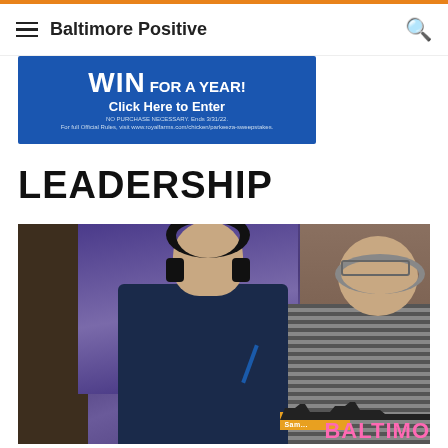Baltimore Positive
[Figure (photo): Advertisement banner: WIN FOR A YEAR! Click Here to Enter. NO PURCHASE NECESSARY. Ends 3/31/22. For full Official Rules, visit www.royalfarms.com/chicken/parkeeza-sweepstakes.]
LEADERSHIP
[Figure (photo): Two men wearing headphones at a radio broadcast, seated in front of a purple Ravens flag/banner. One man in dark navy polo shirt, another in striped shirt with headset. Baltimore Positive branding visible at bottom.]